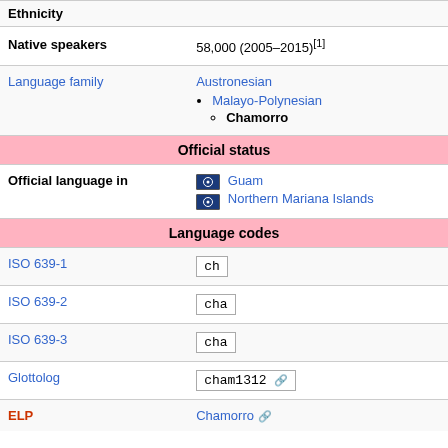| Ethnicity |  |
| Native speakers | 58,000 (2005–2015)[1] |
| Language family | Austronesian > Malayo-Polynesian > Chamorro |
| Official status |  |
| Official language in | Guam, Northern Mariana Islands |
| Language codes |  |
| ISO 639-1 | ch |
| ISO 639-2 | cha |
| ISO 639-3 | cha |
| Glottolog | cham1312 |
| ELP | Chamorro |